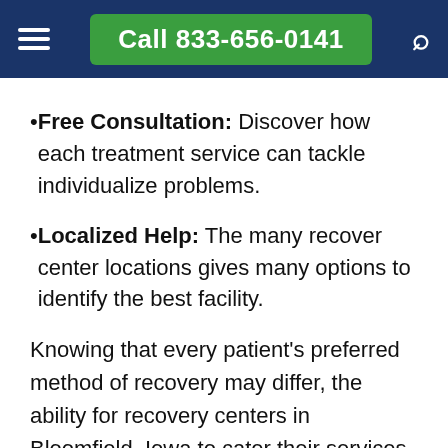Call 833-656-0141
Free Consultation: Discover how each treatment service can tackle individualize problems.
Localized Help: The many recover center locations gives many options to identify the best facility.
Knowing that every patient's preferred method of recovery may differ, the ability for recovery centers in Bloomfield, Iowa to cater their services for personalized care provide patients with various therapy options: